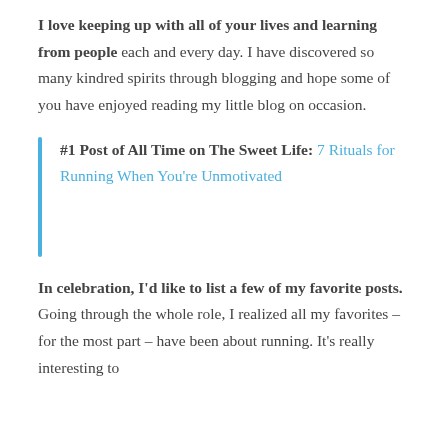I love keeping up with all of your lives and learning from people each and every day. I have discovered so many kindred spirits through blogging and hope some of you have enjoyed reading my little blog on occasion.
#1 Post of All Time on The Sweet Life: 7 Rituals for Running When You're Unmotivated
In celebration, I'd like to list a few of my favorite posts. Going through the whole role, I realized all my favorites – for the most part – have been about running. It's really interesting to